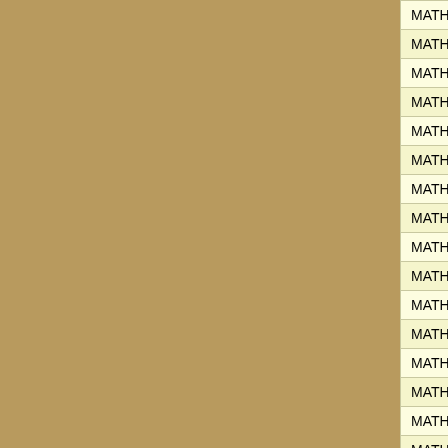| Course | Instructor | Type |
| --- | --- | --- |
| MATH 32L.01 | Bookman, Jack | LAB |
| MATH 32L.02 | Bookman, Jack | LAB |
| MATH 32L.03 | Michael, James Charles | LAB |
| MATH 32L.04 | Spivey, Joseph | LAB |
| MATH 41.01 | Hodel, Margaret | ONE |
| MATH 41.02 | Hodel, Margaret | ONE |
| MATH 41.03 | Kesseler, Kevin | ONE |
| MATH 65S.01 | Pardon, William | CRY |
| MATH 103.01 | Hwang, Hyung Ju | INT |
| MATH 103.02 | McInroy, Adam | INT |
| MATH 103.03 | Hwang, Hyung Ju | INT |
| MATH 103.04 | Wieland, Sandra | INT |
| MATH 103.05 | Hodel, Richard | INT |
| MATH 103.06 | Bray, Clark | INT |
| MATH 103.07 | Vartanian, Arthur | INT |
| MATH 103.08 | Vartanian, Arthur | INT |
| MATH 103.09 | Yoshida, Ruriko | INT |
| MATH 103.10 | Yoshida, Ruriko | INT |
| MATH 103.11 | McInroy, Adam | INT |
| MATH 103.12 | Yasaki, Dan | INT |
| MATH 103X.01 | Witelski, Thomas | HOD |